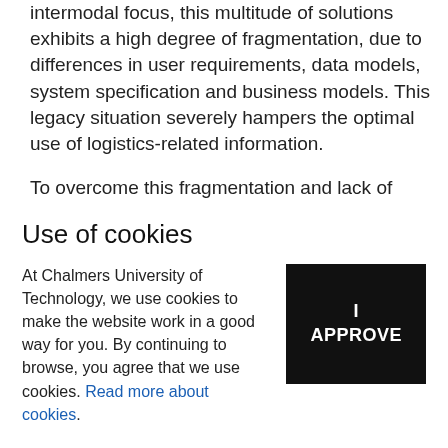intermodal focus, this multitude of solutions exhibits a high degree of fragmentation, due to differences in user requirements, data models, system specification and business models. This legacy situation severely hampers the optimal use of logistics-related information.
To overcome this fragmentation and lack of connectivity of ICT-based information systems for logistics decision making, AEOLIX will establish a cloud-based collaborative logistics ecosystem for configuring and managing (logistics-related) information pipelines. This digital business ecosystem will create visibility across the supply chain, enabling more sustainable and efficient transport of
Use of cookies
At Chalmers University of Technology, we use cookies to make the website work in a good way for you. By continuing to browse, you agree that we use cookies. Read more about cookies.